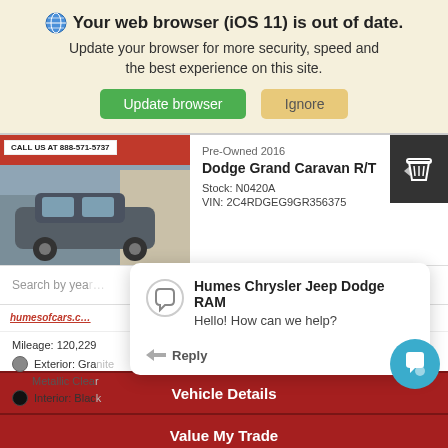[Figure (screenshot): Browser update warning banner with globe icon, bold title 'Your web browser (iOS 11) is out of date.', subtitle text, and two buttons: 'Update browser' (green) and 'Ignore' (tan/gold)]
[Figure (screenshot): Car dealership website listing showing a Dodge Grand Caravan R/T vehicle image with 'CALL US AT 888-571-5737' banner, vehicle info (Pre-Owned 2016, Stock: N0420A, VIN: 2C4RDGEG9GR356375), a chat popup from Humes Chrysler Jeep Dodge RAM saying 'Hello! How can we help?' with a Reply option, mileage 120,229, Exterior: Granite Metallic Clear, Interior: Black, and two red buttons: 'Vehicle Details' and 'Value My Trade']